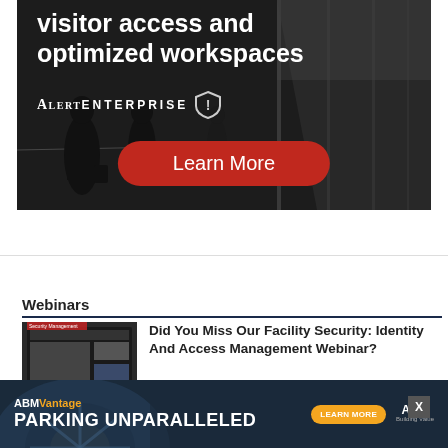[Figure (photo): AlertEnterprise advertisement banner showing people in a modern office lobby with text 'visitor access and optimized workspaces', AlertEnterprise logo with shield icon, and a red 'Learn More' button]
[Figure (photo): Thumbnail image for webinar article about Facility Security: Identity and Access Management]
Webinars
Did You Miss Our Facility Security: Identity And Access Management Webinar?
August 10,
[Figure (photo): ABM Vantage advertisement banner with text 'PARKING UNPARALLELED' and 'LEARN MORE' button]